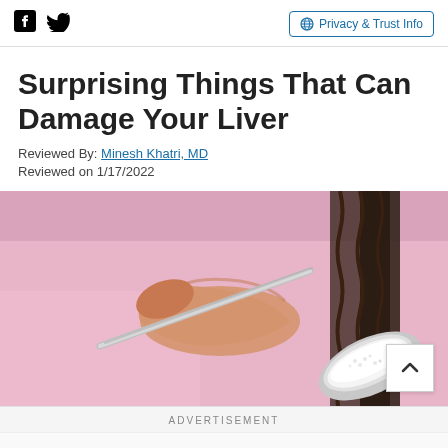Facebook Twitter | Privacy & Trust Info
Surprising Things That Can Damage Your Liver
Reviewed By: Minesh Khatri, MD
Reviewed on 1/17/2022
[Figure (photo): A person in a pink shirt holding a spoon filled with white sugar or powder, close-up shot.]
ADVERTISEMENT